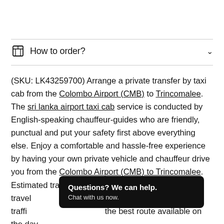How to order?
(SKU: LK43259700) Arrange a private transfer by taxi cab from the Colombo Airport (CMB) to Trincomalee. The sri lanka airport taxi cab service is conducted by English-speaking chauffeur-guides who are friendly, punctual and put your safety first above everything else. Enjoy a comfortable and hassle-free experience by having your own private vehicle and chauffeur drive you from the Colombo Airport (CMB) to Trincomalee. Estimated travel time is 6.51 hour(s) and estimated travel [distance depends] on the weather and traffic [conditions to determine] the best route available on the day.
[Figure (screenshot): Chat popup overlay with black background. Title: 'Questions? We can help.' Subtitle: 'Chat with us now.']